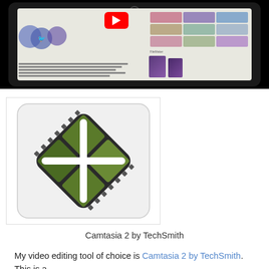[Figure (screenshot): Screenshot of an iPad displaying educational content with YouTube button, circular diagram with Twitter bird, text content, and photo grid on right side with app logos]
[Figure (illustration): Camtasia 2 by TechSmith application icon — a diamond-shaped icon with film strip design in dark and green colors on white background]
Camtasia 2 by TechSmith
My video editing tool of choice is Camtasia 2 by TechSmith. This is a